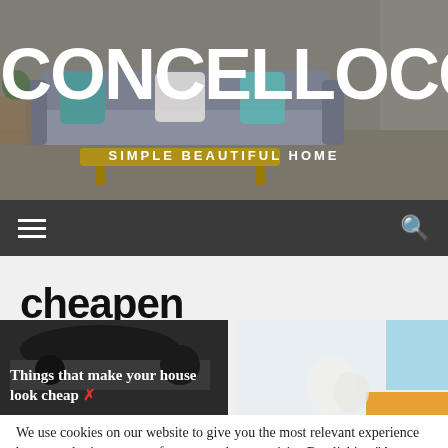[Figure (photo): Hero banner with a living room interior showing a grey sofa with teal pillows and a wooden coffee table, overlaid with semi-transparent dark tint]
CONCELLOCOSPIT
SIMPLE BEAUTIFUL HOME
Navigation bar with hamburger menu icon and search icon
cheapen
[Figure (photo): Dark image showing automotive or mechanical elements with overlaid text: Things that make your house look cheap ✗]
[Figure (photo): Light colored image showing cleaning supplies or home items with blue and orange accent colors]
We use cookies on our website to give you the most relevant experience by remembering your preferences and repeat visits. By clicking "Accept All", you consent to the use of ALL